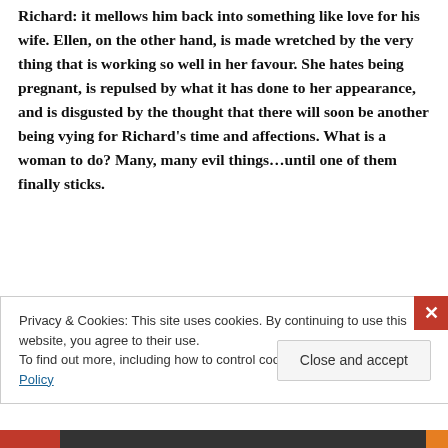Richard: it mellows him back into something like love for his wife. Ellen, on the other hand, is made wretched by the very thing that is working so well in her favour. She hates being pregnant, is repulsed by what it has done to her appearance, and is disgusted by the thought that there will soon be another being vying for Richard's time and affections. What is a woman to do? Many, many evil things…until one of them finally sticks.
[Figure (photo): A partially visible photograph of what appears to be an indoor scene with dark tones.]
Privacy & Cookies: This site uses cookies. By continuing to use this website, you agree to their use.
To find out more, including how to control cookies, see here: Cookie Policy
Close and accept